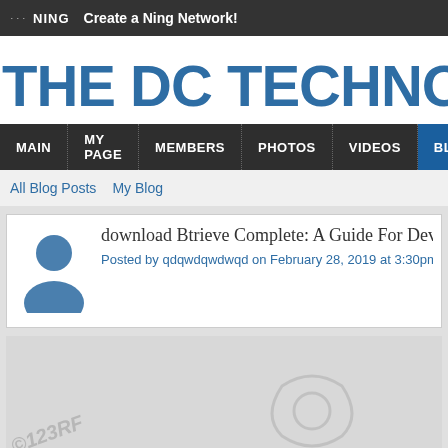NING   Create a Ning Network!
THE DC TECHNOLO
MAIN  MY PAGE  MEMBERS  PHOTOS  VIDEOS  BLOGS
All Blog Posts   My Blog
download Btrieve Complete: A Guide For Develop
Posted by qdqwdqwdwqd on February 28, 2019 at 3:30pm
[Figure (photo): Watermarked placeholder image with 123RF watermark]